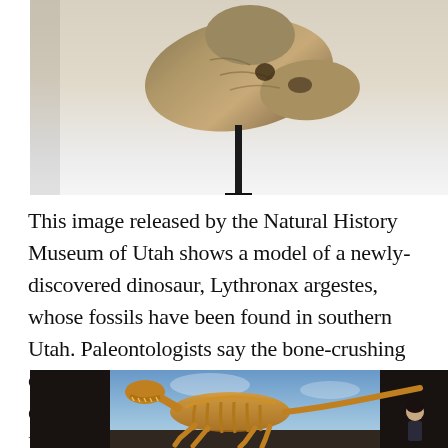[Figure (photo): Photo of a dinosaur model fossil/skull on a black stand against a light gray background, released by the Natural History Museum of Utah]
This image released by the Natural History Museum of Utah shows a model of a newly-discovered dinosaur, Lythronax argestes, whose fossils have been found in southern Utah. Paleontologists say the bone-crushing carnivore is the equivalent of the great uncle of the T. rex. (AP Photo/Natural History Museum of Utah, Gary Staab)
[Figure (photo): Photo of a Lythronax argestes dinosaur skeleton on display in a museum, shown from the side with a person visible in the background]